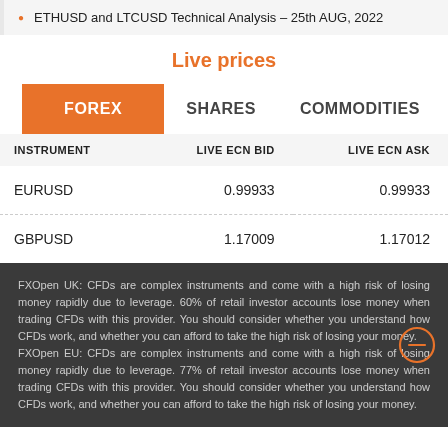ETHUSD and LTCUSD Technical Analysis – 25th AUG, 2022
Live prices
FOREX   SHARES   COMMODITIES
| INSTRUMENT | LIVE ECN BID | LIVE ECN ASK |
| --- | --- | --- |
| EURUSD | 0.99933 | 0.99933 |
| GBPUSD | 1.17009 | 1.17012 |
FXOpen UK: CFDs are complex instruments and come with a high risk of losing money rapidly due to leverage. 60% of retail investor accounts lose money when trading CFDs with this provider. You should consider whether you understand how CFDs work, and whether you can afford to take the high risk of losing your money. FXOpen EU: CFDs are complex instruments and come with a high risk of losing money rapidly due to leverage. 77% of retail investor accounts lose money when trading CFDs with this provider. You should consider whether you understand how CFDs work, and whether you can afford to take the high risk of losing your money.